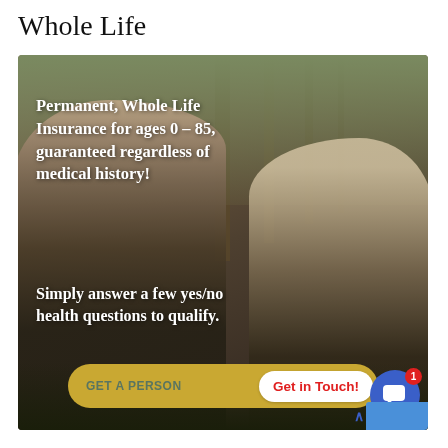Whole Life
[Figure (photo): Photo of two elderly people sitting outdoors in a wooded area, with overlaid marketing text about Whole Life Insurance. Contains a golden 'GET A PERSONALIZED QUOTE' button and a 'Get in Touch!' popup button, along with a chat bubble icon with notification badge.]
Permanent, Whole Life Insurance for ages 0 – 85, guaranteed regardless of medical history!
Simply answer a few yes/no health questions to qualify.